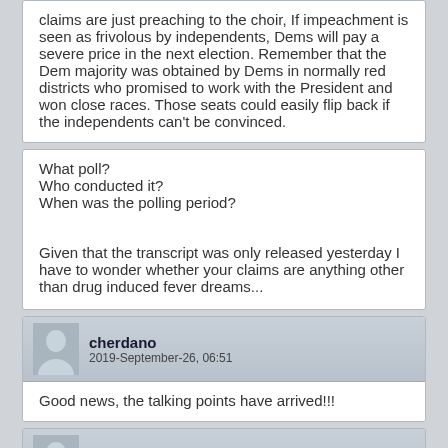claims are just preaching to the choir, If impeachment is seen as frivolous by independents, Dems will pay a severe price in the next election. Remember that the Dem majority was obtained by Dems in normally red districts who promised to work with the President and won close races. Those seats could easily flip back if the independents can't be convinced.
What poll?
Who conducted it?
When was the polling period?

Given that the transcript was only released yesterday I have to wonder whether your claims are anything other than drug induced fever dreams...
cherdano
2019-September-26, 06:51
Good news, the talking points have arrived!!!
rmnka447
2019-September-26, 06:54